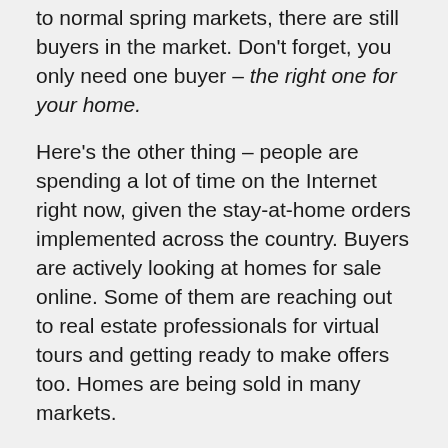to normal spring markets, there are still buyers in the market. Don't forget, you only need one buyer – the right one for your home.
Here's the other thing – people are spending a lot of time on the Internet right now, given the stay-at-home orders implemented across the country. Buyers are actively looking at homes for sale online. Some of them are reaching out to real estate professionals for virtual tours and getting ready to make offers too. Homes are being sold in many markets.
There Is Less Competition Right Now
The same survey indicates that 56% of NAR members said sellers are removing their homes from the market right now. This can definitely work in your favor. If other sellers are removing their listings, your home has a better chance of rising to the top of a buyer's search list and being seen. Keep in mind, listings will pick up again soon,